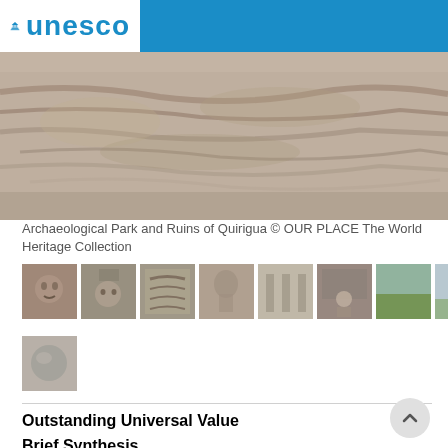unesco
[Figure (photo): Close-up photo of carved stone relief showing Mayan or pre-Columbian stone carvings with intricate patterns and textures at the Archaeological Park and Ruins of Quirigua]
Archaeological Park and Ruins of Quirigua © OUR PLACE The World Heritage Collection
[Figure (photo): Row of thumbnail images showing various views of the Archaeological Park and Ruins of Quirigua including carved stelae, stone monuments, figures, workers, grassy fields, and modern water tower structures]
[Figure (photo): Additional thumbnail image showing another view of the archaeological site]
Outstanding Universal Value
Brief Synthesis
The Archaeological Park and Ruins of Quirigua is located in the Department of Izabal in Guatemala. The inscribed property is comprised of 34 hectares of land